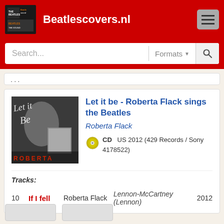Beatlescovers.nl
Search...   Formats
Let it be - Roberta Flack sings the Beatles
Roberta Flack
CD  US 2012 (429 Records / Sony 4178522)
Tracks:
10  If I fell  Roberta Flack  Lennon-McCartney (Lennon)  2012